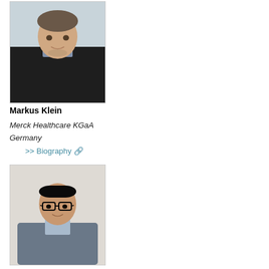[Figure (photo): Headshot of Markus Klein, a man in a black sweater in an office setting]
Markus Klein
Merck Healthcare KGaA
Germany
>> Biography 🔗
[Figure (photo): Headshot of Cui Xinguang, a man with glasses wearing a grey suit jacket]
Cui Xinguang
Huazhong University of Science and Technology
China